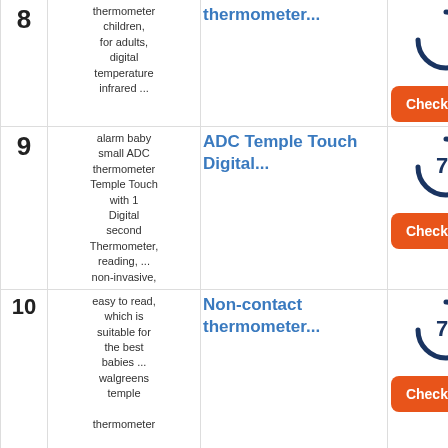| # | Description | Product | Score/Action |
| --- | --- | --- | --- |
| 8 | thermometer children, for adults, digital temperature infrared ... | thermometer... | Check Price |
| 9 | alarm baby small ADC thermometer Temple Touch with 1 Digital second Thermometer, reading, ... non-invasive, | ADC Temple Touch Digital... | 7.4 / Check Price |
| 10 | easy to read, which is suitable for the best babies ... walgreens temple thermometer in the world | Non-contact thermometer... | 7.2 / Check Price |